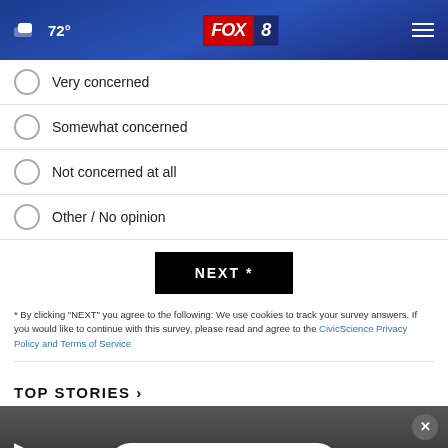FOX 8 — 72° weather header
Very concerned
Somewhat concerned
Not concerned at all
Other / No opinion
NEXT *
* By clicking "NEXT" you agree to the following: We use cookies to track your survey answers. If you would like to continue with this survey, please read and agree to the CivicScience Privacy Policy and Terms of Service
TOP STORIES ›
[Figure (screenshot): Video thumbnail with play button, close button, and AARP retirement ad banner at bottom]